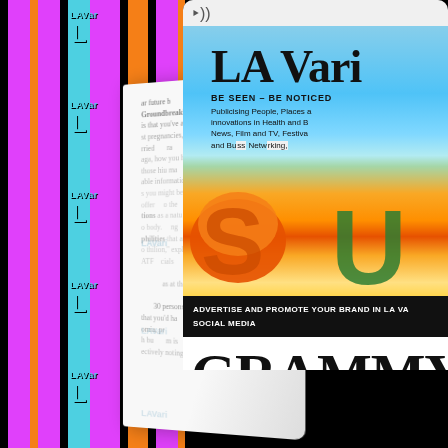[Figure (photo): Colorful background with stacked LA Variety magazine covers showing repeating pink/magenta, orange, black and cyan color pattern with 'LAVar' and 'L' text repeated]
[Figure (photo): Folded magazine page visible in center-left area showing partial article text in gray]
[Figure (photo): Tablet device screen showing LA Variety digital edition with summer beach image featuring sand letters S and U, masthead reading 'LA Vari' with tagline 'BE SEEN - BE NOTICED' and subtext about publicising people, places and innovations in Health and Business News, Film and TV, Festivals and Business Networking]
ADVERTISE AND PROMOTE YOUR BRAND IN LA VA... SOCIAL MEDIA
GRAMMY B...